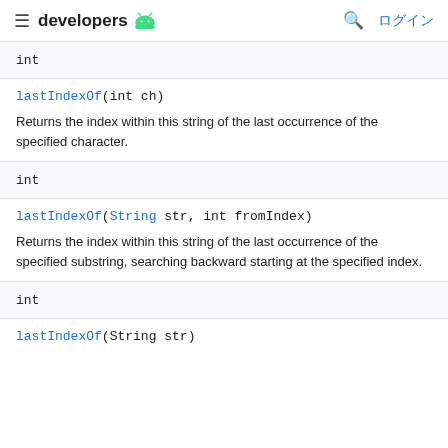developers [android logo] ログイン
int
lastIndexOf(int ch)
Returns the index within this string of the last occurrence of the specified character.
int
lastIndexOf(String str, int fromIndex)
Returns the index within this string of the last occurrence of the specified substring, searching backward starting at the specified index.
int
lastIndexOf(String str)